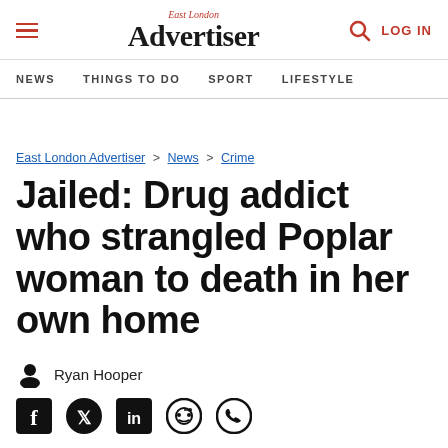East London Advertiser — NEWS | THINGS TO DO | SPORT | LIFESTYLE | LOG IN
East London Advertiser > News > Crime
Jailed: Drug addict who strangled Poplar woman to death in her own home
Ryan Hooper